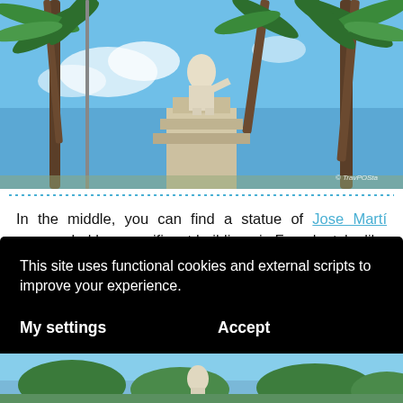[Figure (photo): Outdoor photo showing a white stone statue on a pedestal (Jose Marti) with palm trees against a blue sky with clouds. Watermark 'TravPOSta' visible in lower right.]
In the middle, you can find a statue of Jose Martí surrounded by magnificent buildings in French style, like the Teatro Tómas Terry. There is also the former city hall Antiguo Ayuntamiento, in which the provincial government is based today. There is no entrance for
This site uses functional cookies and external scripts to improve your experience.
My settings
Accept
[Figure (photo): Bottom partial photo showing outdoor scene with trees and possibly a statue, partially visible.]